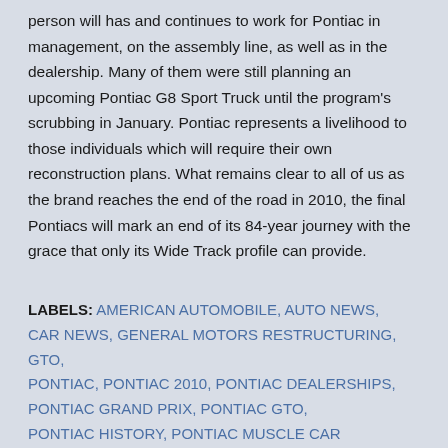person will has and continues to work for Pontiac in management, on the assembly line, as well as in the dealership. Many of them were still planning an upcoming Pontiac G8 Sport Truck until the program's scrubbing in January. Pontiac represents a livelihood to those individuals which will require their own reconstruction plans. What remains clear to all of us as the brand reaches the end of the road in 2010, the final Pontiacs will mark an end of its 84-year journey with the grace that only its Wide Track profile can provide.
LABELS: AMERICAN AUTOMOBILE, AUTO NEWS, CAR NEWS, GENERAL MOTORS RESTRUCTURING, GTO, PONTIAC, PONTIAC 2010, PONTIAC DEALERSHIPS, PONTIAC GRAND PRIX, PONTIAC GTO, PONTIAC HISTORY, PONTIAC MUSCLE CAR SHARE